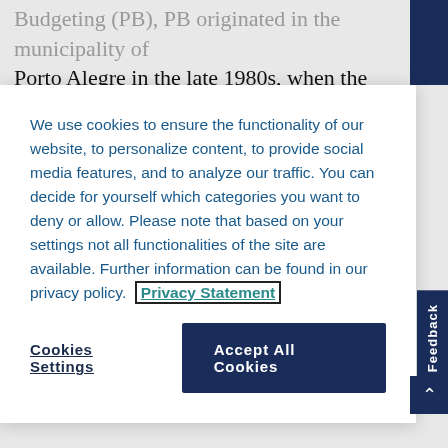Porto Alegre in the late 1980s, when the newly elected
We use cookies to ensure the functionality of our website, to personalize content, to provide social media features, and to analyze our traffic. You can decide for yourself which categories you want to deny or allow. Please note that based on your settings not all functionalities of the site are available. Further information can be found in our privacy policy. Privacy Statement
Cookies Settings
Accept All Cookies
expenditure.
The Porto Alegre process entails a series of periodic assemblies over several months at neighbourhood, district and municipal levels (for an overview see Smith, 2009, p. Chapter 2). Citizens set local priorities at the popular assemblies and then send delegates to the strategic committees, where they work with public officials to make decisions regarding the distribution